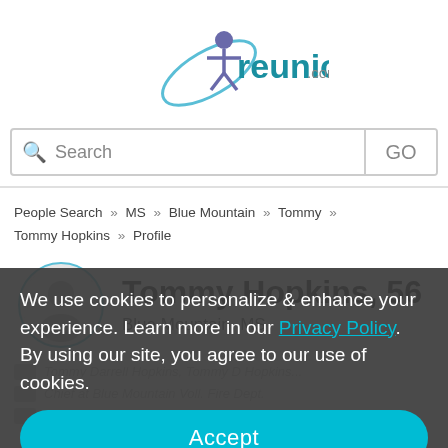[Figure (logo): reunion.com logo with teal text and stylized figure/orbit graphic]
Search   GO
People Search » MS » Blue Mountain » Tommy » Tommy Hopkins » Profile
Tommy Hopkins, 56
Blue Mountain, MS
Tommy Darrell Hopkins, Tommy D Hopkins...
Chief at Blue Mountain Voll. Fire Dept.
We use cookies to personalize & enhance your experience. Learn more in our Privacy Policy. By using our site, you agree to our use of cookies.
Accept